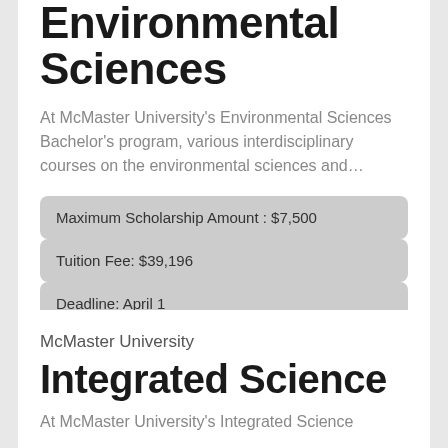Environmental Sciences
At McMaster University's Environmental Sciences Bachelor's program, various interdisciplinary courses on the environmental sciences and…
Maximum Scholarship Amount : $7,500
Tuition Fee: $39,196
Deadline: April 1
Duration: 4 Years
McMaster University
Integrated Science
At McMaster University's Integrated Science